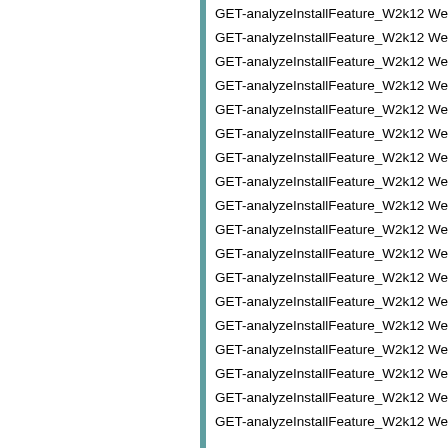GET-analyzeInstallFeature_W2k12 We
GET-analyzeInstallFeature_W2k12 We
GET-analyzeInstallFeature_W2k12 We
GET-analyzeInstallFeature_W2k12 We
GET-analyzeInstallFeature_W2k12 We
GET-analyzeInstallFeature_W2k12 We
GET-analyzeInstallFeature_W2k12 We
GET-analyzeInstallFeature_W2k12 We
GET-analyzeInstallFeature_W2k12 We
GET-analyzeInstallFeature_W2k12 We
GET-analyzeInstallFeature_W2k12 We
GET-analyzeInstallFeature_W2k12 We
GET-analyzeInstallFeature_W2k12 We
GET-analyzeInstallFeature_W2k12 We
GET-analyzeInstallFeature_W2k12 We
GET-analyzeInstallFeature_W2k12 We
GET-analyzeInstallFeature_W2k12 We
GET-analyzeInstallFeature_W2k12 We
}
###Windows Server 2008###